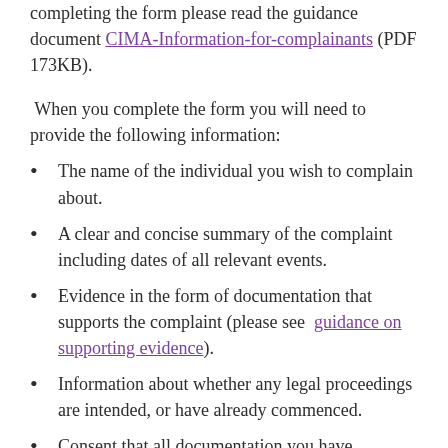completing the form please read the guidance document CIMA-Information-for-complainants (PDF 173KB).
When you complete the form you will need to provide the following information:
The name of the individual you wish to complain about.
A clear and concise summary of the complaint including dates of all relevant events.
Evidence in the form of documentation that supports the complaint (please see guidance on supporting evidence).
Information about whether any legal proceedings are intended, or have already commenced.
Consent that all documentation you have submitted may be disclosed to the other party to the complaint, to CIMA's conduct committees and to